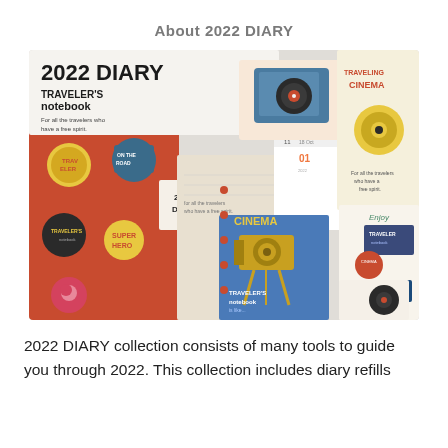About 2022 DIARY
[Figure (photo): Product photo showing the 2022 DIARY TRAVELER'S notebook collection including diary covers with retro cinema and travel themed stickers, refill pages, calendar spreads, and decorative sticker sheets featuring cinema cameras, record players, and travel motifs in vintage illustration style.]
2022 DIARY collection consists of many tools to guide you through 2022. This collection includes diary refills